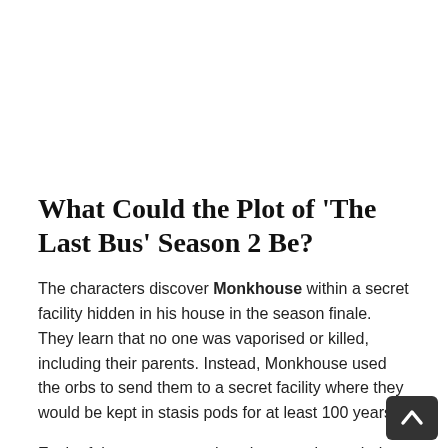What Could the Plot of 'The Last Bus' Season 2 Be?
The characters discover Monkhouse within a secret facility hidden in his house in the season finale. They learn that no one was vaporised or killed, including their parents. Instead, Monkhouse used the orbs to send them to a secret facility where they would be kept in stasis pods for at least 100 years.
Each of these structures has the capacity to shelter a